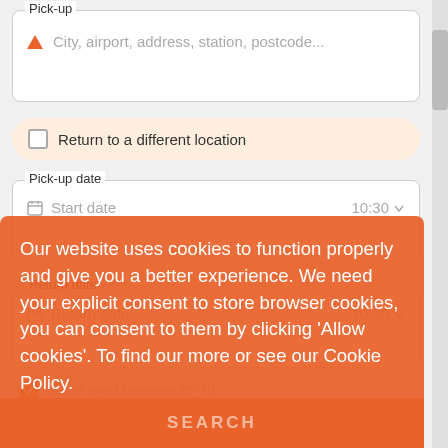Pick-up
City, airport, address, station, postcode...
Return to a different location
Pick-up date
Start date
10:30
Return date
10:30
Our website uses cookies to function properly and give you a better experience. We need your explicit consent to store browser cookies, you can consent to them by clicking ‘Allow cookies’. To find our more or see our Cookie Policy.
Learn more
Driver aged between 25-70
Allow Cookies
SEARCH